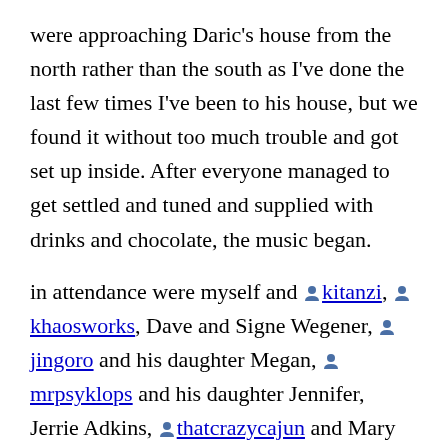were approaching Daric's house from the north rather than the south as I've done the last few times I've been to his house, but we found it without too much trouble and got set up inside. After everyone managed to get settled and tuned and supplied with drinks and chocolate, the music began.
in attendance were myself and [kitanzi icon] kitanzi, [khaosworks icon] khaosworks, Dave and Signe Wegener, [jingoro icon] jingoro and his daughter Megan, [mrpsyklops icon] mrpsyklops and his daughter Jennifer, Jerrie Adkins, [thatcrazycajun icon] thatcrazycajun and Mary Mullholland, and Michael Liebmann. Because of the small crowd, we ended up doing a traditional PPorP bardic circle, ensuring that everyone got both a good chance and a good prodding to do something. 🙂